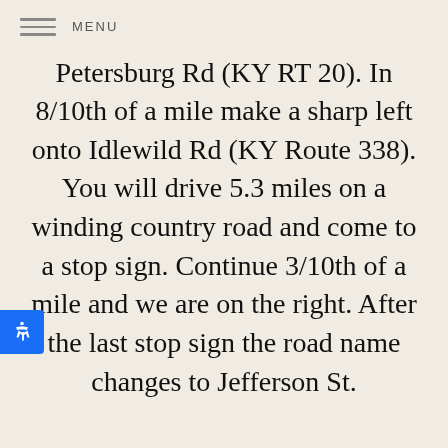MENU
Petersburg Rd (KY RT 20). In 8/10th of a mile make a sharp left onto Idlewild Rd (KY Route 338). You will drive 5.3 miles on a winding country road and come to a stop sign. Continue 3/10th of a mile and we are on the right. After the last stop sign the road name changes to Jefferson St.